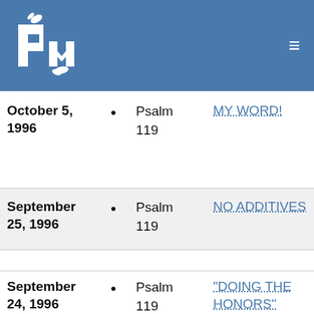PM logo and navigation
October 5, 1996 • Psalm 119 MY WORD!
September 25, 1996 • Psalm 119 NO ADDITIVES
September 24, 1996 • Psalm 119 "DOING THE HONORS"